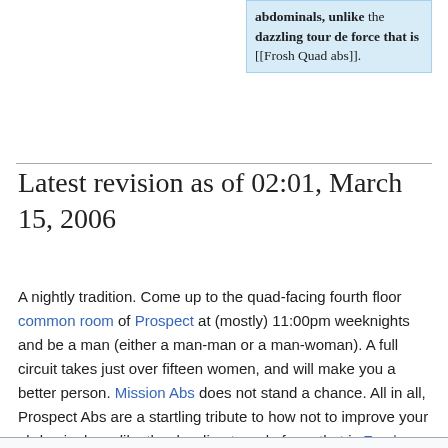abdominals, unlike the dazzling tour de force that is [[Frosh Quad abs]].
Latest revision as of 02:01, March 15, 2006
A nightly tradition. Come up to the quad-facing fourth floor common room of Prospect at (mostly) 11:00pm weeknights and be a man (either a man-man or a man-woman). A full circuit takes just over fifteen women, and will make you a better person. Mission Abs does not stand a chance. All in all, Prospect Abs are a startling tribute to how not to improve your abdominals, unlike the dazzling tour de force that is Frosh Quad abs.